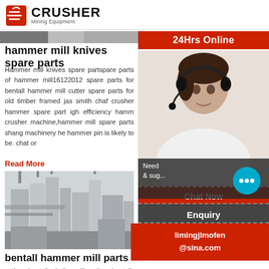CRUSHER Mining Equipment
[Figure (photo): Top image strip of machinery photo (partially visible, cropped at top)]
hammer mill knives spare parts
Hammer mill knives spare partspare parts of hammer mill16122012 spare parts for bentall hammer mill cutter spare parts for old timber framed jas smith chaf crusher hammer spare part igh efficiency hamm crusher machine,hammer mill spare parts shang machinery he hammer pin is likely to be. chat or
Read More
[Figure (photo): Industrial machinery / mill equipment building with pipes and silos]
bentall hammer mill parts – BIKAJ
antique bentall grinding mill. antique bentall gri upshocioacin Bentalls Farm Machinery Oldangine The